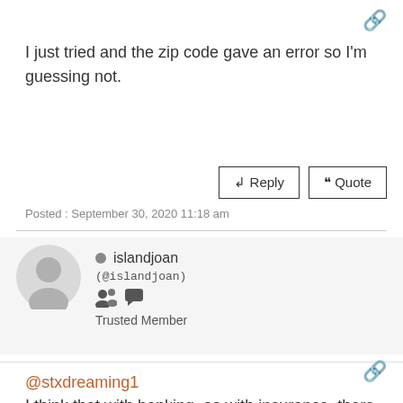I just tried and the zip code gave an error so I'm guessing not.
Reply   Quote
Posted : September 30, 2020 11:18 am
islandjoan (@islandjoan) Trusted Member
@stxdreaming1
I think that with banking, as with insurance, there